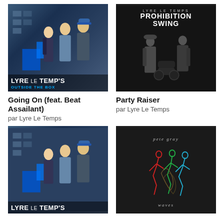[Figure (illustration): Album cover for Lyre Le Temps - Outside The Box featuring three band members in urban setting with blue glowing boxes, large text LYRE LE TEMPS and OUTSIDE THE BOX]
Going On (feat. Beat Assailant)
par Lyre Le Temps
[Figure (illustration): Album cover for Lyre Le Temps - Prohibition Swing, dark monochrome image with two figures standing, text LYRE LE TEMPS PROHIBITION SWING at top]
Party Raiser
par Lyre Le Temps
[Figure (illustration): Album cover for Lyre Le Temps - Outside The Box, same as first image featuring three band members with large LYRE LE TEMPS text at bottom]
[Figure (illustration): Album cover with dark background, colorful wire-frame dancing figures, text pete gray at top and waves at bottom]